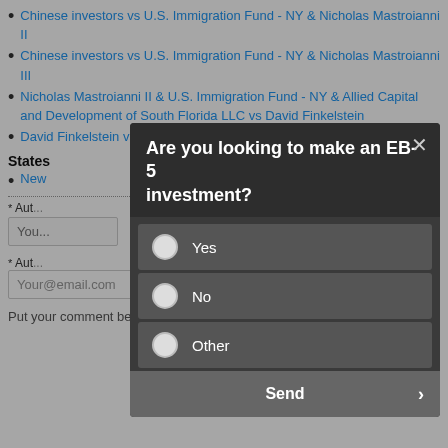Chinese investors vs U.S. Immigration Fund - NY & Nicholas Mastroianni II
Chinese investors vs U.S. Immigration Fund - NY & Nicholas Mastroianni III
Nicholas Mastroianni II & U.S. Immigration Fund - NY & Allied Capital and Development of South Florida LLC vs David Finkelstein
David Finkelstein vs Nicholas Mastroianni II & Allied Capital and Development...
States
New...
[Figure (screenshot): Modal dialog asking 'Are you looking to make an EB-5 investment?' with radio options Yes, No, Other, and a Send button with a close (x) button in the top right corner.]
Your@email.com
Put your comment below